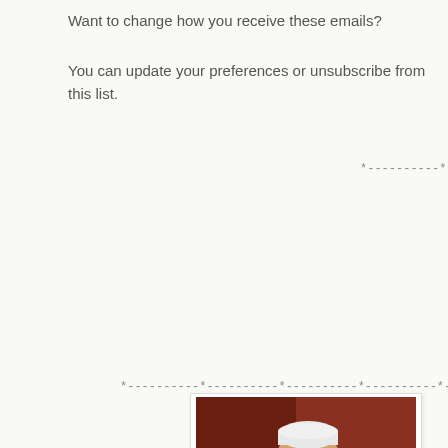Want to change how you receive these emails?
You can update your preferences or unsubscribe from this list.
*----------*----------*----------*----------*----------*----
*----------*----------*----------*----------*----------*----------*
[Figure (photo): Photo of a man wearing a white cap and glasses, photographed against a dark red/brown background.]